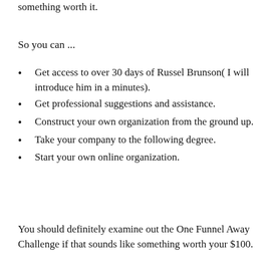something worth it.
So you can ...
Get access to over 30 days of Russel Brunson( I will introduce him in a minutes).
Get professional suggestions and assistance.
Construct your own organization from the ground up.
Take your company to the following degree.
Start your own online organization.
You should definitely examine out the One Funnel Away Challenge if that sounds like something worth your $100.